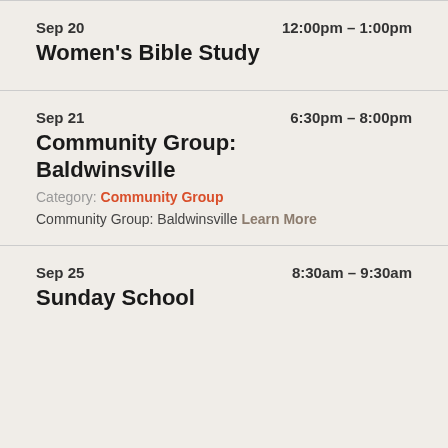Sep 20 | 12:00pm – 1:00pm | Women's Bible Study
Sep 21 | 6:30pm – 8:00pm | Community Group: Baldwinsville | Category: Community Group | Community Group: Baldwinsville Learn More
Sep 25 | 8:30am – 9:30am | Sunday School